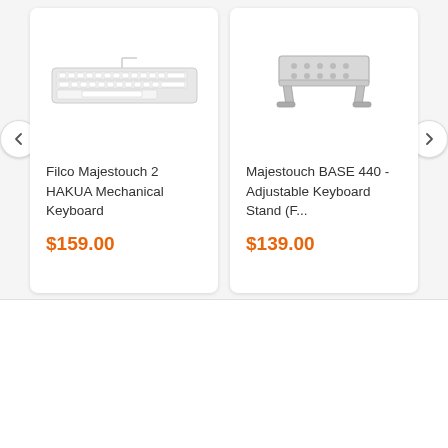[Figure (photo): Filco Majestouch 2 HAKUA Mechanical Keyboard product photo]
Filco Majestouch 2 HAKUA Mechanical Keyboard
$159.00
[Figure (photo): Majestouch BASE 440 Adjustable Keyboard Stand product photo]
Majestouch BASE 440 - Adjustable Keyboard Stand (F...
$139.00
[Figure (logo): Filco / Majestouch brand logo — orange double-arch chevron mark]